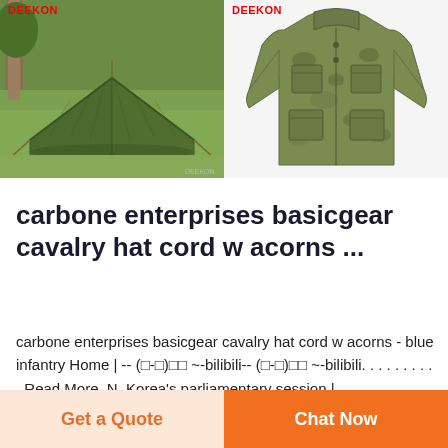[Figure (photo): Two product photos side by side: left shows a green military/camping tent on grass with DEEKON logo in red; right shows a green camouflage military jacket on white background with DEEKON logo in red.]
carbone enterprises basicgear cavalry hat cord w acorns ...
carbone enterprises basicgear cavalry hat cord w acorns - blue infantry Home | -- (□-□)□□ ~-bilibili-- (□-□)□□ ~-bilibili. . . . . . . . . . Read More. N. Korea's parliamentary session |